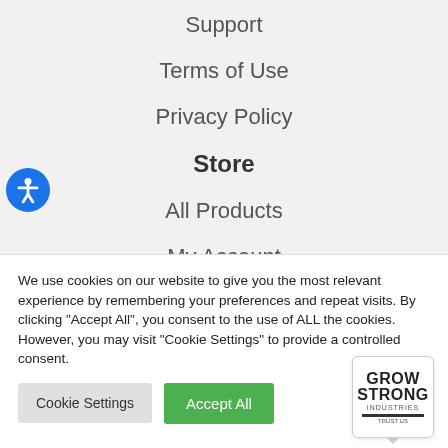Support
Terms of Use
Privacy Policy
Store
All Products
My Account
Wholesale Inquiry
We use cookies on our website to give you the most relevant experience by remembering your preferences and repeat visits. By clicking "Accept All", you consent to the use of ALL the cookies. However, you may visit "Cookie Settings" to provide a controlled consent.
[Figure (logo): Grow Strong Industries logo in a speech bubble]